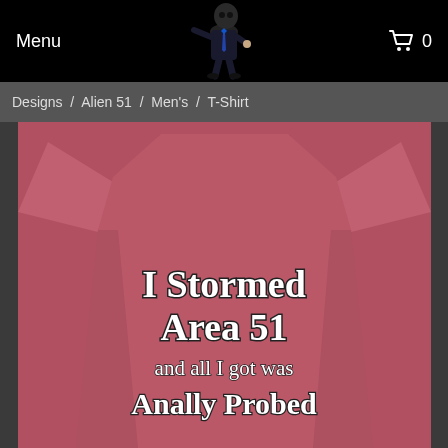Menu  0
Designs / Alien 51 / Men's / T-Shirt
[Figure (photo): Red/mauve t-shirt with humorous text reading 'I Stormed Area 51 and all I got was Anally Probed']